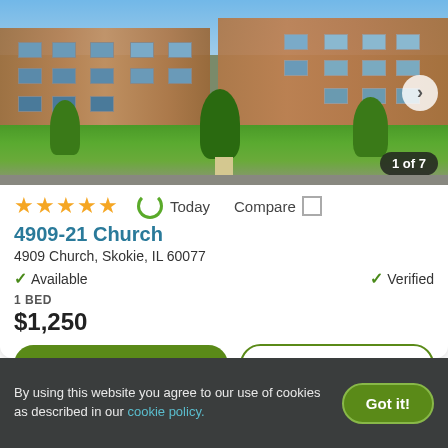[Figure (photo): Exterior photo of apartment building at 4909-21 Church, Skokie IL — brick multi-story building with green lawn and trees; shows '1 of 7' counter]
★★★★★ (4.5 stars)  ↻ Today  Compare □
4909-21 Church
4909 Church, Skokie, IL 60077
✓ Available    ✓ Verified
1 BED
$1,250
View Details    Contact Property
By using this website you agree to our use of cookies as described in our cookie policy.   Got it!